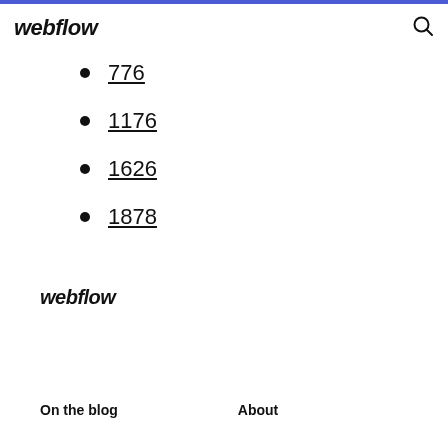webflow
776
1176
1626
1878
webflow
On the blog  About